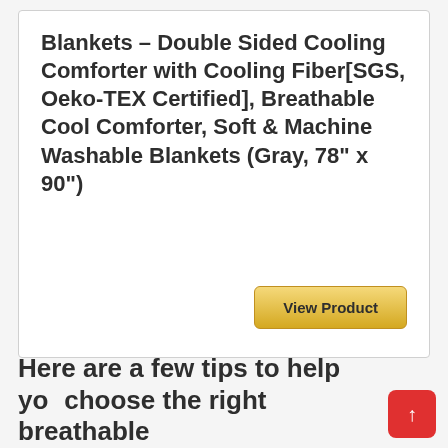Blankets – Double Sided Cooling Comforter with Cooling Fiber[SGS, Oeko-TEX Certified], Breathable Cool Comforter, Soft & Machine Washable Blankets (Gray, 78" x 90")
View Product
Here are a few tips to help you choose the right breathable